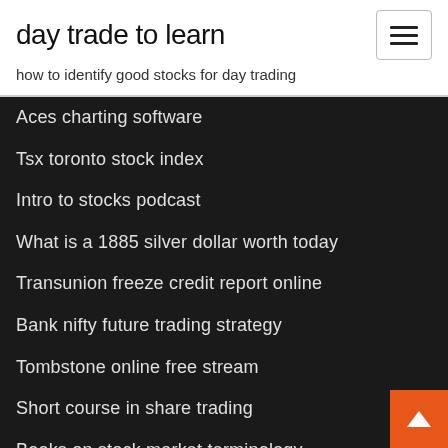day trade to learn
how to identify good stocks for day trading
Aces charting software
Tsx toronto stock index
Intro to stocks podcast
What is a 1885 silver dollar worth today
Transunion freeze credit report online
Bank nifty future trading strategy
Tombstone online free stream
Short course in share trading
Books on stock market terminology
Currency exchange us dollar mexican peso